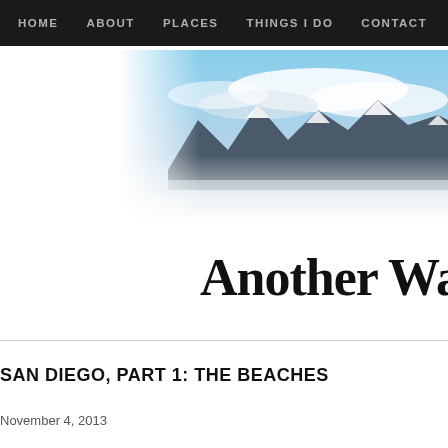HOME   ABOUT   PLACES   THINGS I DO   CONTACT
[Figure (photo): Panoramic photo of snow-capped mountain range with blue sky and clouds, fading to white at edges]
Another Wa
SAN DIEGO, PART 1: THE BEACHES
November 4, 2013